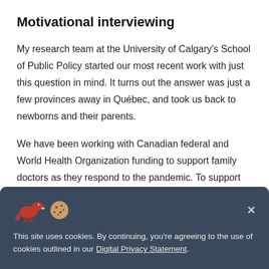Motivational interviewing
My research team at the University of Calgary's School of Public Policy started our most recent work with just this question in mind. It turns out the answer was just a few provinces away in Québec, and took us back to newborns and their parents.
We have been working with Canadian federal and World Health Organization funding to support family doctors as they respond to the pandemic. To support better conversations about vaccine hesitancy, we met with Dr
This site uses cookies. By continuing, you're agreeing to the use of cookies outlined in our Digital Privacy Statement.